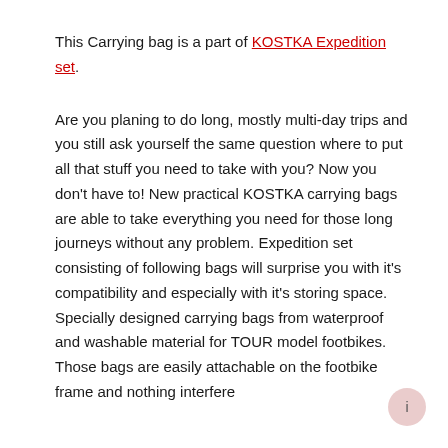This Carrying bag is a part of KOSTKA Expedition set.
Are you planing to do long, mostly multi-day trips and you still ask yourself the same question where to put all that stuff you need to take with you? Now you don't have to! New practical KOSTKA carrying bags are able to take everything you need for those long journeys without any problem. Expedition set consisting of following bags will surprise you with it's compatibility and especially with it's storing space. Specially designed carrying bags from waterproof and washable material for TOUR model footbikes. Those bags are easily attachable on the footbike frame and nothing interfere